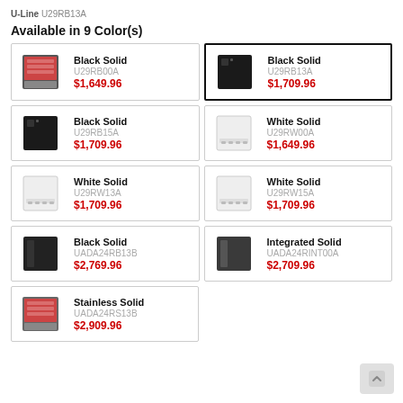U-Line U29RB13A
Available in 9 Color(s)
| Image | Name | SKU | Price |
| --- | --- | --- | --- |
| [img] | Black Solid | U29RB00A | $1,649.96 |
| [img] | Black Solid | U29RB13A | $1,709.96 |
| [img] | Black Solid | U29RB15A | $1,709.96 |
| [img] | White Solid | U29RW00A | $1,649.96 |
| [img] | White Solid | U29RW13A | $1,709.96 |
| [img] | White Solid | U29RW15A | $1,709.96 |
| [img] | Black Solid | UADA24RB13B | $2,769.96 |
| [img] | Integrated Solid | UADA24RINT00A | $2,709.96 |
| [img] | Stainless Solid | UADA24RS13B | $2,909.96 |